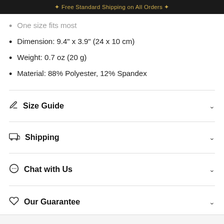✦ Free Standard Shipping on All Orders ✦
One size fits most
Dimension: 9.4" x 3.9" (24 x 10 cm)
Weight: 0.7 oz (20 g)
Material: 88% Polyester, 12% Spandex
Size Guide
Shipping
Chat with Us
Our Guarantee
Share
Questions? We can help. Chat with us now.